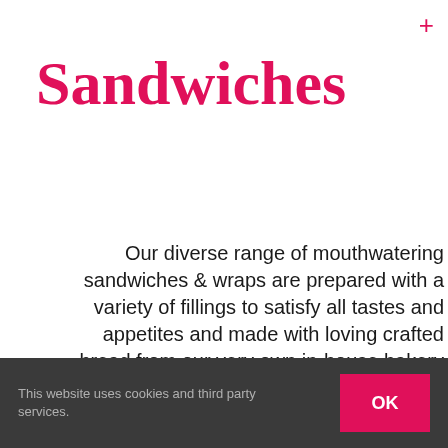Sandwiches
Our diverse range of mouthwatering sandwiches & wraps are prepared with a variety of fillings to satisfy all tastes and appetites and made with loving crafted bread from our very own in-house bakery
VIEW OUR RANGE OF SANWICHES
[Figure (photo): Photo strip of a wooden surface / sandwiches]
This website uses cookies and third party services.
OK